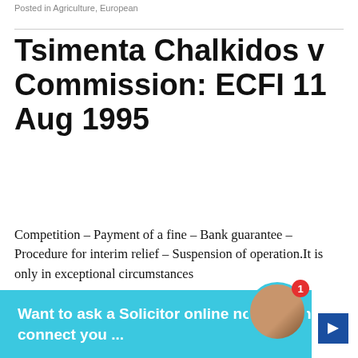Posted in Agriculture, European
Tsimenta Chalkidos v Commission: ECFI 11 Aug 1995
Competition – Payment of a fine – Bank guarantee – Procedure for interim relief – Suspension of operation.It is only in exceptional circumstances
bank guarantee securing payment of a fine imposed
[Figure (other): Chat widget overlay: 'Want to ask a Solicitor online now? I can connect you ...' with avatar photo and notification badge showing 1]
[Figure (other): Advertisement: Bridgestone Tire Sale – Virginia Tire & Auto of Ashburn, with Tires Plus Auto logo and navigation arrow icon]